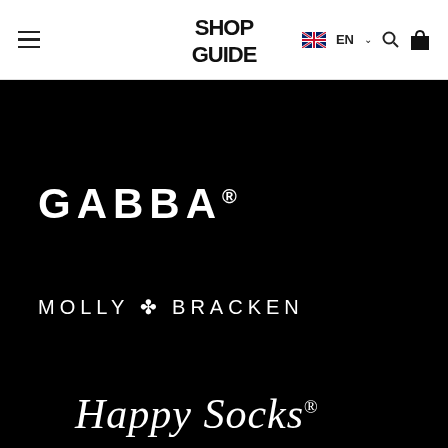ShopGuide — navigation header with hamburger menu, ShopGuide logo, EN language selector, search icon, and shopping bag icon
[Figure (logo): GABBA brand logo in white capital letters on black background]
[Figure (logo): MOLLY BRACKEN brand logo in white capital letters with decorative star/flower between words on black background]
[Figure (logo): Happy Socks brand logo in white italic script font on black background]